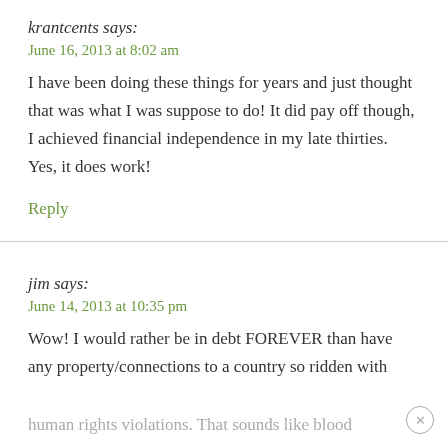krantcents says:
June 16, 2013 at 8:02 am
I have been doing these things for years and just thought that was what I was suppose to do! It did pay off though, I achieved financial independence in my late thirties. Yes, it does work!
Reply
jim says:
June 14, 2013 at 10:35 pm
Wow! I would rather be in debt FOREVER than have any property/connections to a country so ridden with
human rights violations. That sounds like blood